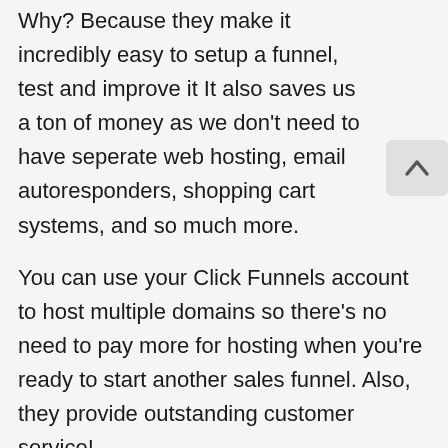Why? Because they make it incredibly easy to setup a funnel, test and improve it It also saves us a ton of money as we don't need to have seperate web hosting, email autoresponders, shopping cart systems, and so much more.
You can use your Click Funnels account to host multiple domains so there's no need to pay more for hosting when you're ready to start another sales funnel. Also, they provide outstanding customer service!
I highly recommend using Click Funnels for your first sales funnel, and you can get try it out now with a FREE 14 day trial!